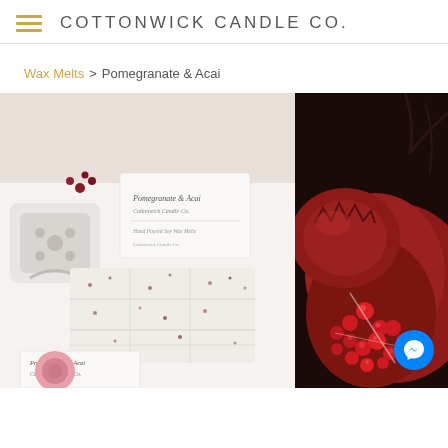COTTONWICK CANDLE CO.
Wax Melts > Pomegranate & Acai
[Figure (photo): Two product photos side by side: left shows wax melt snap bars with pomegranate & acai branding, wax burner, pink wax seals, and gold heart charm on white background; right shows a close-up of fresh red pomegranate seeds and fruit.]